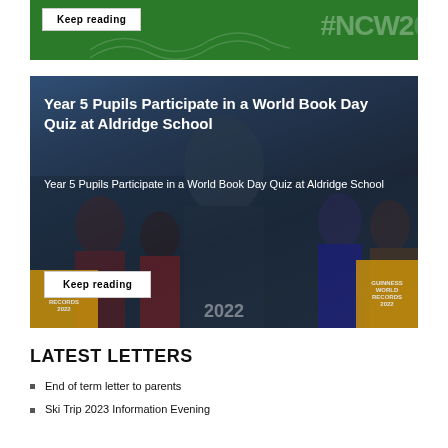[Figure (photo): Green banner with 'Keep reading' button and partial NCW2023 hashtag text]
[Figure (photo): School children and an adult man holding Guinness World Records 2022 books, inside a classroom]
Year 5 Pupils Participate in a World Book Day Quiz at Aldridge School
Year 5 Pupils Participate in a World Book Day Quiz at Aldridge School
LATEST LETTERS
End of term letter to parents
Ski Trip 2023 Information Evening